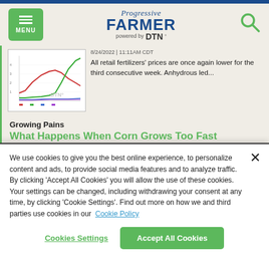Progressive FARMER powered by DTN
[Figure (continuous-plot): Line chart showing retail fertilizer price trends over time with multiple colored lines (red, green, blue). DTN watermark visible.]
8/24/2022 | 11:11AM CDT
All retail fertilizers' prices are once again lower for the third consecutive week. Anhydrous led...
Growing Pains
What Happens When Corn Grows Too Fast
We use cookies to give you the best online experience, to personalize content and ads, to provide social media features and to analyze traffic. By clicking 'Accept All Cookies' you will allow the use of these cookies. Your settings can be changed, including withdrawing your consent at any time, by clicking 'Cookie Settings'. Find out more on how we and third parties use cookies in our Cookie Policy
Cookies Settings
Accept All Cookies